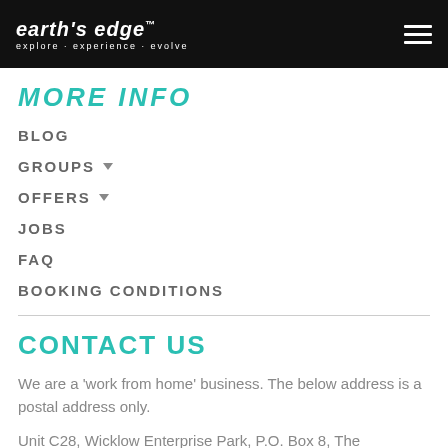earth's edge™ explore · experience · evolve
MORE INFO
BLOG
GROUPS
OFFERS
JOBS
FAQ
BOOKING CONDITIONS
CONTACT US
We are a 'work from home' business. The below address is a postal address only.
Unit C28, Wicklow Enterprise Park, P.O. Box 8, The